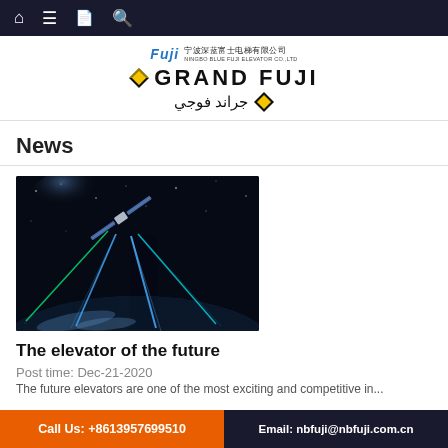Navigation bar with home, menu, book, search icons
[Figure (logo): Grand Fuji / Ningbo Blue Fuji Elevator Co., Ltd. logo with Chinese text, English GRAND FUJI text with diamond logo mark, and Arabic text جراند فوجي]
News
[Figure (photo): Space satellite in orbit above Earth with blue laser/light beams shooting downward toward Earth's surface, dark space background]
The elevator of the future
Post time: Dec-21-2020
The future elevators are one of the most exciting and competitive in...
Call Us: +8613957699510   Email: nbfuji@nbfuji.com.cn